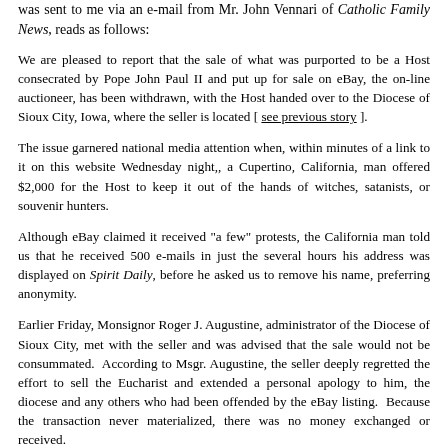was sent to me via an e-mail from Mr. John Vennari of Catholic Family News, reads as follows:
We are pleased to report that the sale of what was purported to be a Host consecrated by Pope John Paul II and put up for sale on eBay, the on-line auctioneer, has been withdrawn, with the Host handed over to the Diocese of Sioux City, Iowa, where the seller is located [ see previous story ].
The issue garnered national media attention when, within minutes of a link to it on this website Wednesday night,, a Cupertino, California, man offered $2,000 for the Host to keep it out of the hands of witches, satanists, or souvenir hunters.
Although eBay claimed it received "a few" protests, the California man told us that he received 500 e-mails in just the several hours his address was displayed on Spirit Daily, before he asked us to remove his name, preferring anonymity.
Earlier Friday, Monsignor Roger J. Augustine, administrator of the Diocese of Sioux City, met with the seller and was advised that the sale would not be consummated. According to Msgr. Augustine, the seller deeply regretted the effort to sell the Eucharist and extended a personal apology to him, the diocese and any others who had been offended by the eBay listing. Because the transaction never materialized, there was no money exchanged or received.